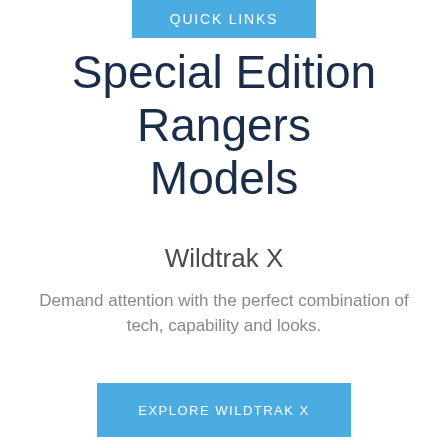QUICK LINKS
Special Edition Rangers Models
Wildtrak X
Demand attention with the perfect combination of tech, capability and looks.
EXPLORE WILDTRAK X
[Figure (other): Five navigation dots indicating a carousel/slider, all grey]